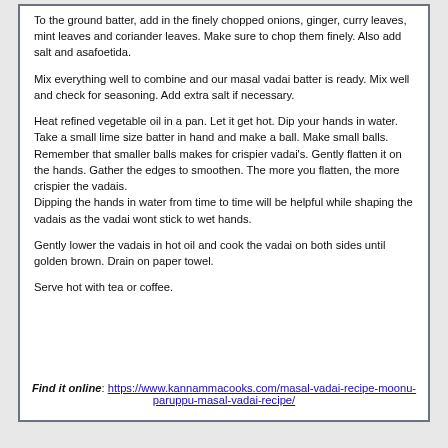To the ground batter, add in the finely chopped onions, ginger, curry leaves, mint leaves and coriander leaves. Make sure to chop them finely. Also add salt and asafoetida.
Mix everything well to combine and our masal vadai batter is ready. Mix well and check for seasoning. Add extra salt if necessary.
Heat refined vegetable oil in a pan. Let it get hot. Dip your hands in water. Take a small lime size batter in hand and make a ball. Make small balls. Remember that smaller balls makes for crispier vadai's. Gently flatten it on the hands. Gather the edges to smoothen. The more you flatten, the more crispier the vadais.
Dipping the hands in water from time to time will be helpful while shaping the vadais as the vadai wont stick to wet hands.
Gently lower the vadais in hot oil and cook the vadai on both sides until golden brown. Drain on paper towel.
Serve hot with tea or coffee.
Find it online: https://www.kannammacooks.com/masal-vadai-recipe-moonu-paruppu-masal-vadai-recipe/